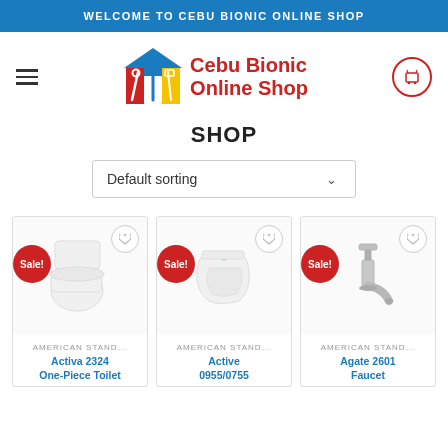WELCOME TO CEBU BIONIC ONLINE SHOP
[Figure (logo): Cebu Bionic Online Shop logo with house icon containing tools, text 'Cebu Bionic Online Shop' in red]
SHOP
Default sorting
[Figure (photo): White one-piece toilet product image with Sale! badge]
AMERICAN STAND...
Activa 2324 One-Piece Toilet
[Figure (photo): White wall-hung basin product image with Sale! badge]
AMERICAN STAND...
Active 0955/0755
[Figure (photo): Chrome faucet product image with Sale! badge]
AMERICAN STAND...
Agate 2601 Faucet